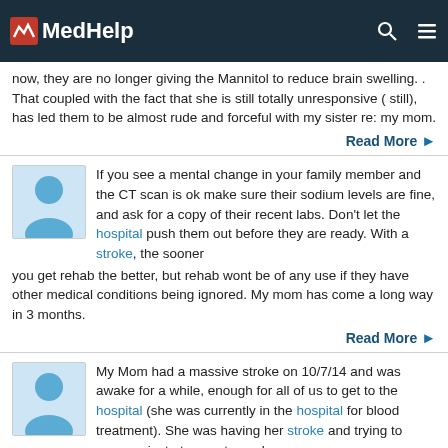MedHelp
now, they are no longer giving the Mannitol to reduce brain swelling. . That coupled with the fact that she is still totally unresponsive ( still), has led them to be almost rude and forceful with my sister re: my mom.
Read More
If you see a mental change in your family member and the CT scan is ok make sure their sodium levels are fine, and ask for a copy of their recent labs. Don't let the hospital push them out before they are ready. With a stroke, the sooner you get rehab the better, but rehab wont be of any use if they have other medical conditions being ignored. My mom has come a long way in 3 months.
Read More
My Mom had a massive stroke on 10/7/14 and was awake for a while, enough for all of us to get to the hospital (she was currently in the hospital for blood treatment). She was having her stroke and trying to communicate to us, etc, and it was really difficult to watch.. as well to write this :( She then fell asleep... what we though was sleeping, but she was really falling into